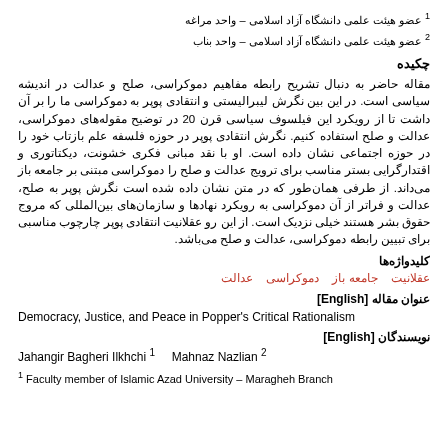1 عضو هیئت علمی دانشگاه آزاد اسلامی – واحد مراغه
2 عضو هیئت علمی دانشگاه آزاد اسلامی – واحد بناب
چکیده
مقاله حاضر به دنبال تشریح رابطه مفاهیم دموکراسی، صلح و عدالت در اندیشه سیاسی است. در این بین نگرش لیبرالیستی و انتقادی پوپر به دموکراسی ما را بر آن داشت تا از رویکرد این فیلسوف سیاسی قرن 20 در توضیح مقوله‌های دموکراسی، عدالت و صلح استفاده کنیم. نگرش انتقادی پوپر در حوزه فلسفه علم بازتاب خود را در حوزه اجتماعی نشان داده است. او با نقد مبانی فکری خشونت، دیکتاتوری و اقتدارگرایی بستر مناسب برای ترویج عدالت و صلح را دموکراسی مبتنی بر جامعه باز می‌داند. از طرفی همان‌طور که در متن نشان داده شده است نگرش پوپر به صلح، عدالت و فراتر از آن دموکراسی به رویکرد نهادها و سازمان‌های بین‌المللی که مروج حقوق بشر هستند خیلی نزدیک است. از این رو عقلانیت انتقادی پوپر چارچوب مناسبی برای تبیین رابطه دموکراسی، عدالت و صلح می‌باشد.
کلیدواژه‌ها
عقلانیت   جامعه باز   دموکراسی   عدالت
عنوان مقاله [English]
Democracy, Justice, and Peace in Popper's Critical Rationalism
نویسندگان [English]
Jahangir Bagheri Ilkhchi 1   Mahnaz Nazlian 2
1 Faculty member of Islamic Azad University – Maragheh Branch